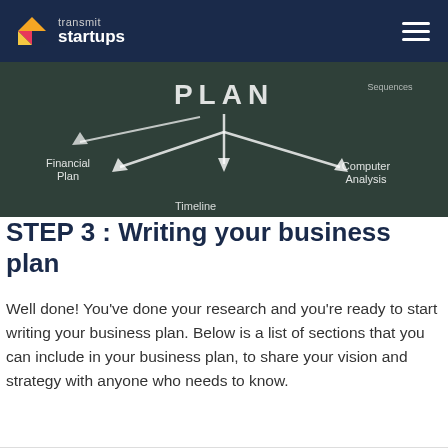transmit startups
[Figure (photo): Chalkboard with 'PLAN' written and arrows pointing to Financial Plan, Computer Analysis, Timeline, and other sections]
STEP 3 : Writing your business plan
Well done! You've done your research and you're ready to start writing your business plan. Below is a list of sections that you can include in your business plan, to share your vision and strategy with anyone who needs to know.